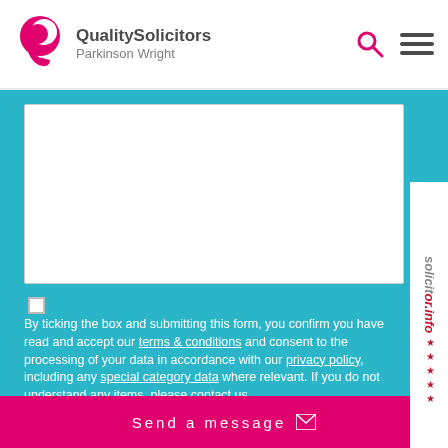QualitySolicitors Parkinson Wright
[Figure (screenshot): Text area input field (white box), partially visible at top]
[Figure (other): solicitor.info star rating badge on right sidebar]
By ticking the box and submitting this form, you confirm you have read and accept our terms & conditions and consent to the processing of your data in accordance with our privacy policy, including any special category data where relevant. If you do not understand any items, please contact us.
[Figure (other): reCAPTCHA widget with checkbox and 'I'm not a robot' label]
Send a message